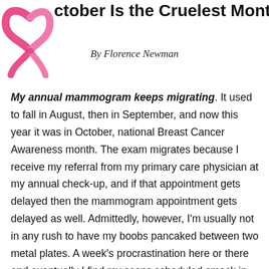[Figure (illustration): Pink breast cancer awareness ribbon in the top-left corner of the page header]
ctober Is the Cruelest Month
By Florence Newman
My annual mammogram keeps migrating. It used to fall in August, then in September, and now this year it was in October, national Breast Cancer Awareness month. The exam migrates because I receive my referral from my primary care physician at my annual check-up, and if that appointment gets delayed then the mammogram appointment gets delayed as well. Admittedly, however, I'm usually not in any rush to have my boobs pancaked between two metal plates. A week's procrastination here or there and eventually I find my scans scheduled smack in the middle of pink ribbon season. I'm usually apprehensive enough about the exam without being deluged by